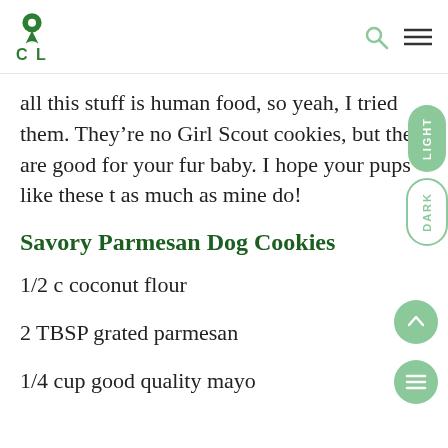CVL
all this stuff is human food, so yeah, I tried them. They’re no Girl Scout cookies, but they are good for your fur baby. I hope your pups like these t as much as mine do!
Savory Parmesan Dog Cookies
1/2 c coconut flour
2 TBSP grated parmesan
1/4 cup good quality mayo